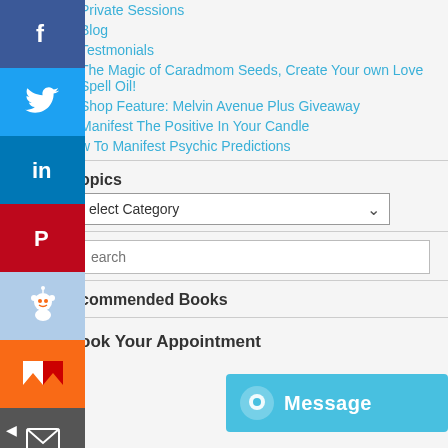Private Sessions
Blog
Testmonials
The Magic of Caradmom Seeds, Create Your own Love Spell Oil!
Shop Feature: Melvin Avenue Plus Giveaway
Manifest The Positive In Your Candle
w To Manifest Psychic Predictions
opics
elect Category
earch
commended Books
ook Your Appointment
Message